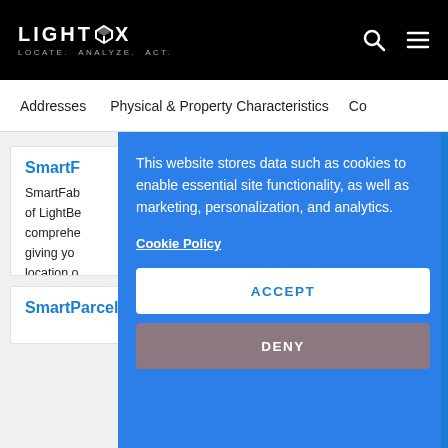LIGHTBOX — LOCATE. ANALYZE. ACT.
Addresses   Physical & Property Characteristics   Co
SmartF...
SmartFab... of LightBo... comprehe... giving yo... location o...
This website stores data such as cookies to enable essential site functionality, as well as marketing, personalization, and analytics.
Cookie Policy
ACCEPT
DENY
SmartParcels®